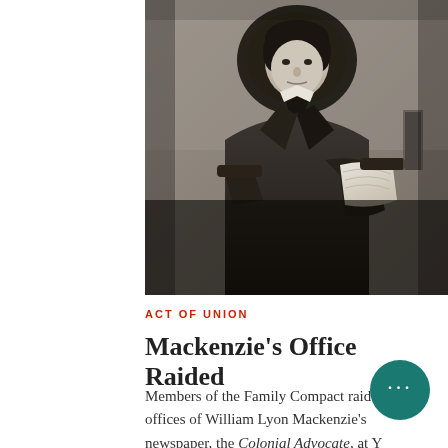[Figure (photo): Black and white photograph of William Lyon Mackenzie seated in an ornate chair, wearing a dark suit and cravat, holding papers]
ACT OF UNION
Mackenzie's Office Raided
Members of the Family Compact raided the offices of William Lyon Mackenzie's newspaper, the Colonial Advocate, at Y…